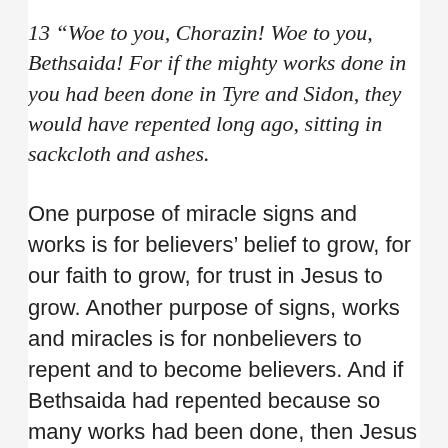13 “Woe to you, Chorazin! Woe to you, Bethsaida! For if the mighty works done in you had been done in Tyre and Sidon, they would have repented long ago, sitting in sackcloth and ashes.
One purpose of miracle signs and works is for believers’ belief to grow, for our faith to grow, for trust in Jesus to grow. Another purpose of signs, works and miracles is for nonbelievers to repent and to become believers. And if Bethsaida had repented because so many works had been done, then Jesus would gladly go there and perform more signs and miracles. But certain places do not repent, for one reason or another,